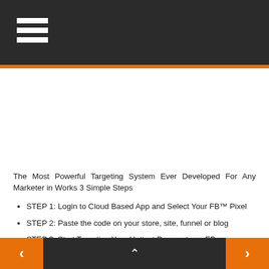[Figure (other): Top navigation bar with hamburger menu icon (three white horizontal lines) on dark grey background]
[Figure (other): White image/video placeholder area]
The Most Powerful Targeting System Ever Developed For Any Marketer in Works 3 Simple Steps
STEP 1: Login to Cloud Based App and Select Your FB™ Pixel
STEP 2: Paste the code on your store, site, funnel or blog
STEP 3: Start Targeting Your Hottest Prospects on FB
< ^ >